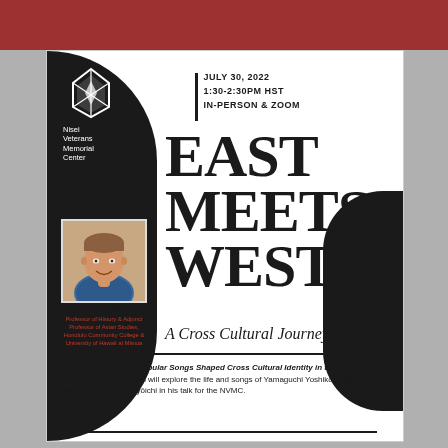[Figure (logo): Nisei Veterans Memorial Center shield logo in white on black background]
Nisei Veterans Memorial Center
JULY 30, 2022
1:30-2:30PM HST
IN-PERSON & ZOOM
EAST MEETS WEST
A Cross Cultural Journey
[Figure (photo): Dr. Patrick Patterson headshot, smiling man with short hair]
Dr. Patrick Patterson
Professor of History & Adjunct Professor of Asian Studies, Honolulu Community College & University of Hawaii at Mānoa
"Border Song: How Popular Songs Shaped Cross Cultural Identity in the 20th Century." Dr. Patterson will explore the life and songs of Yamaguchi Yoshiko, Hibari Misora, and Hattori Ryōichi in his talk for the NVMC.